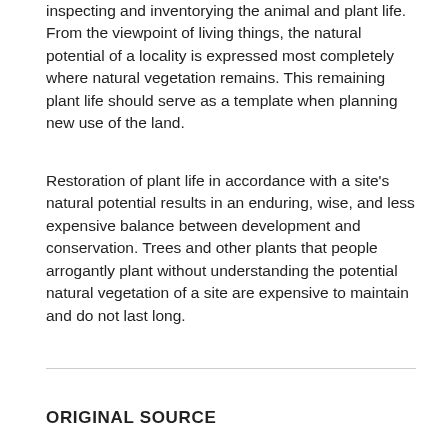inspecting and inventorying the animal and plant life. From the viewpoint of living things, the natural potential of a locality is expressed most completely where natural vegetation remains. This remaining plant life should serve as a template when planning new use of the land.
Restoration of plant life in accordance with a site's natural potential results in an enduring, wise, and less expensive balance between development and conservation. Trees and other plants that people arrogantly plant without understanding the potential natural vegetation of a site are expensive to maintain and do not last long.
ORIGINAL SOURCE